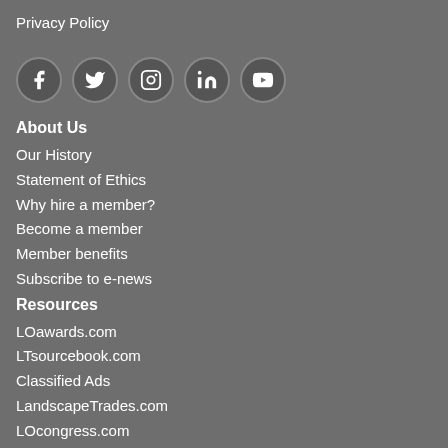Privacy Policy
[Figure (other): Social media icons row: Facebook, Twitter, Instagram, LinkedIn, YouTube — circular dark buttons with white icons]
About Us
Our History
Statement of Ethics
Why hire a member?
Become a member
Member benefits
Subscribe to e-news
Resources
LOawards.com
LTsourcebook.com
Classified Ads
LandscapeTrades.com
LOcongress.com
HorticultureTechnician.ca
GreenCareersCanada.ca
Landscape.Jobs
GrowOutdoors.ca